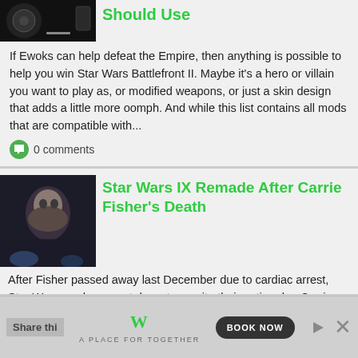Should Use
If Ewoks can help defeat the Empire, then anything is possible to help you win Star Wars Battlefront II. Maybe it's a hero or villain you want to play as, or modified weapons, or just a skin design that adds a little more oomph. And while this list contains all mods that are compatible with...
0 comments
Star Wars IX Remade After Carrie Fisher's Death
After Fisher passed away last December due to cardiac arrest, Star Wars producers sat down to rewrite their entire plan Carrie Fisher reprised her role as the beloved Princess Leia in the first episode of the new Star Wars trilogy, The Force Awakens. She didn't see as much screen time as her...
0 comments
[Top 10] SWTOR Best
Share thi